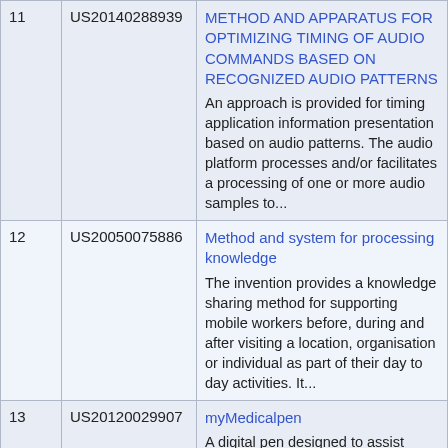| # | Patent Number | Title / Abstract |
| --- | --- | --- |
| 11 | US20140288939 | METHOD AND APPARATUS FOR OPTIMIZING TIMING OF AUDIO COMMANDS BASED ON RECOGNIZED AUDIO PATTERNS
An approach is provided for timing application information presentation based on audio patterns. The audio platform processes and/or facilitates a processing of one or more audio samples to... |
| 12 | US20050075886 | Method and system for processing knowledge
The invention provides a knowledge sharing method for supporting mobile workers before, during and after visiting a location, organisation or individual as part of their day to day activities. It... |
| 13 | US20120029907 | myMedicalpen
A digital pen designed to assist users in spelling words as they write. The invention is an electronic pen with a speaker located near the top of the device. A microphone may be located directly... |